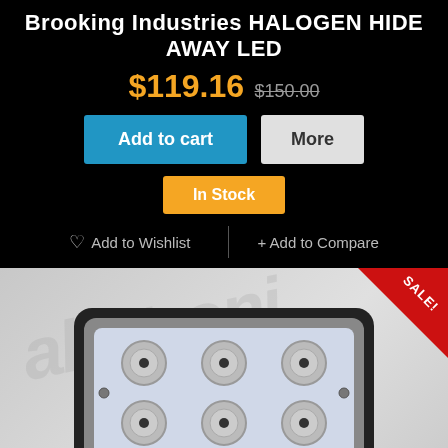Brooking Industries HALOGEN HIDE AWAY LED
$119.16 $150.00
Add to cart
More
In Stock
♡ Add to Wishlist
+ Add to Compare
[Figure (photo): LED light unit, rectangular black housing with multiple LED bulbs visible through clear lens, shown on grey background with watermark. Red SALE! corner badge visible.]